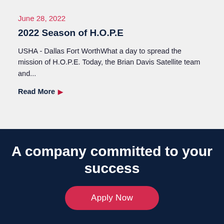June 28, 2022
2022 Season of H.O.P.E
USHA - Dallas Fort WorthWhat a day to spread the mission of H.O.P.E. Today, the Brian Davis Satellite team and...
Read More ▶
A company committed to your success
Apply Now